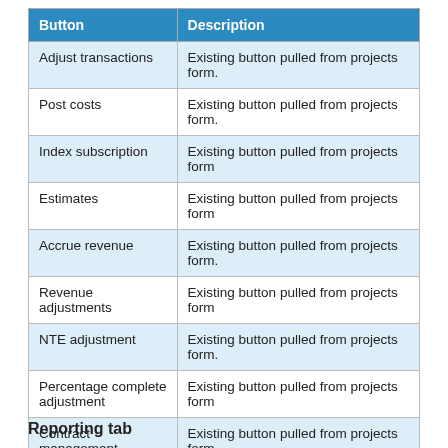| Button | Description |
| --- | --- |
| Adjust transactions | Existing button pulled from projects form. |
| Post costs | Existing button pulled from projects form. |
| Index subscription | Existing button pulled from projects form |
| Estimates | Existing button pulled from projects form |
| Accrue revenue | Existing button pulled from projects form. |
| Revenue adjustments | Existing button pulled from projects form |
| NTE adjustment | Existing button pulled from projects form. |
| Percentage complete adjustment | Existing button pulled from projects form |
| Contract management | Existing button pulled from projects form. |
Reporting tab